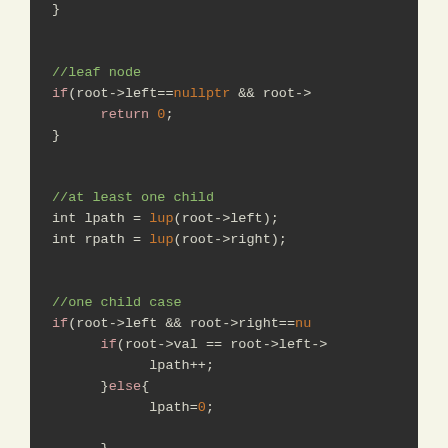[Figure (screenshot): Code editor screenshot showing C++ code fragment for a tree traversal function. Dark background (#2d2d2d) with syntax highlighting. Code includes: closing brace, leaf node comment with nullptr check returning 0, at-least-one-child comment with lpath/rpath assignments using lup(), one child case comment with if/else block checking root->val vs root->left->, lpath++, else lpath=0, closing brace.]